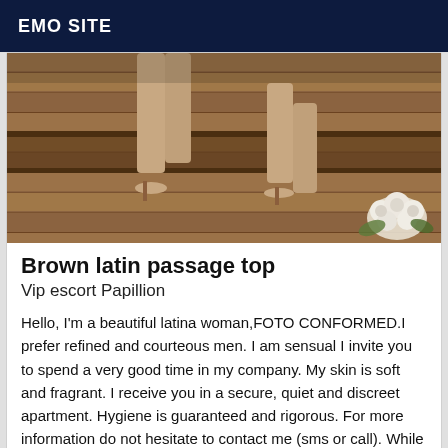EMO SITE
[Figure (photo): Close-up photo of a woman's legs and feet in heels standing on a wooden deck floor, with white flowers visible in the bottom right corner.]
Brown latin passage top
Vip escort Papillion
Hello, I'm a beautiful latina woman,FOTO CONFORMED.I prefer refined and courteous men. I am sensual I invite you to spend a very good time in my company. My skin is soft and fragrant. I receive you in a secure, quiet and discreet apartment. Hygiene is guaranteed and rigorous. For more information do not hesitate to contact me (sms or call). While waiting to see you, I give you big kisses.